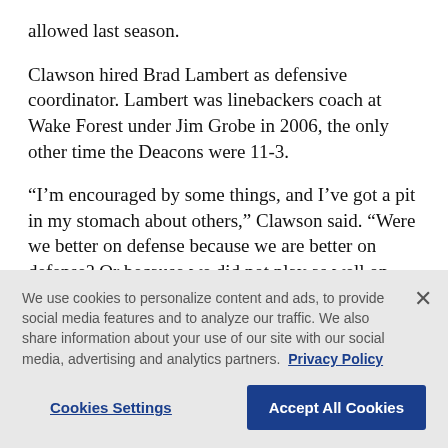allowed last season.
Clawson hired Brad Lambert as defensive coordinator. Lambert was linebackers coach at Wake Forest under Jim Grobe in 2006, the only other time the Deacons were 11-3.
“I’m encouraged by some things, and I’ve got a pit in my stomach about others,” Clawson said. “Were we better on defense because we are better on defense? Or because we did not play as well on offense.”
We use cookies to personalize content and ads, to provide social media features and to analyze our traffic. We also share information about your use of our site with our social media, advertising and analytics partners. Privacy Policy
Cookies Settings
Accept All Cookies